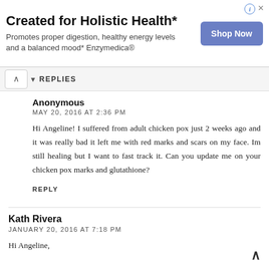[Figure (screenshot): Advertisement banner for Enzymedica holistic health product with 'Shop Now' button]
REPLIES
Anonymous
MAY 20, 2016 AT 2:36 PM

Hi Angeline! I suffered from adult chicken pox just 2 weeks ago and it was really bad it left me with red marks and scars on my face. Im still healing but I want to fast track it. Can you update me on your chicken pox marks and glutathione?

REPLY
Kath Rivera
JANUARY 20, 2016 AT 7:18 PM

Hi Angeline,